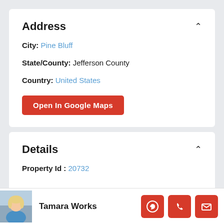Address
City: Pine Bluff
State/County: Jefferson County
Country: United States
Open In Google Maps
Details
Property Id : 20732
Tamara Works